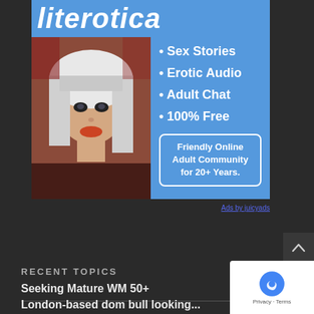[Figure (illustration): Advertisement banner for 'literotica' website showing a woman with white hair on a blue background with text: Sex Stories, Erotic Audio, Adult Chat, 100% Free, Friendly Online Adult Community for 20+ Years.]
Ads by juicyads
RECENT TOPICS
Seeking Mature WM 50+
London-based dom bull looking...